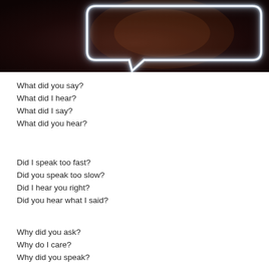[Figure (photo): A glowing neon light shaped like a speech/chat bubble on a dark background]
What did you say?
What did I hear?
What did I say?
What did you hear?
Did I speak too fast?
Did you speak too slow?
Did I hear you right?
Did you hear what I said?
Why did you ask?
Why do I care?
Why did you speak?